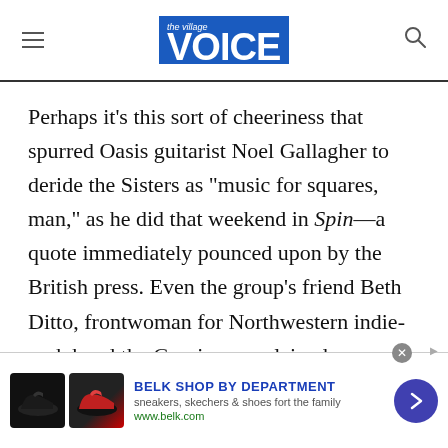The Village Voice
Perhaps it's this sort of cheeriness that spurred Oasis guitarist Noel Gallagher to deride the Sisters as "music for squares, man," as he did that weekend in Spin—a quote immediately pounced upon by the British press. Even the group's friend Beth Ditto, frontwoman for Northwestern indie-rock band the Gossip, complained more recently in Mixmag that touring with the Sisters was "a soul-sucking experience" thanks to crowds of "soccer moms
[Figure (screenshot): Advertisement banner for Belk showing shoes, text 'BELK SHOP BY DEPARTMENT', 'sneakers, skechers & shoes for the family', 'www.belk.com', with navigation arrow button]